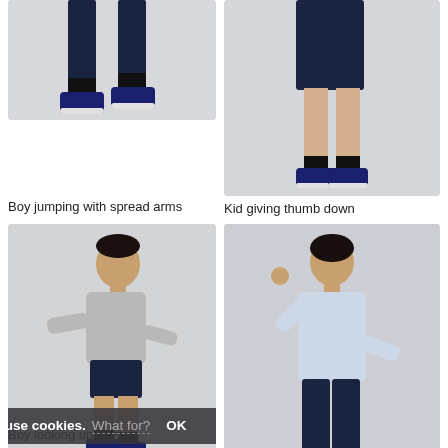[Figure (photo): Cropped photo of boy's feet/legs jumping, wearing dark sneakers and dark shorts, on a light grey background]
Boy jumping with spread arms
[Figure (photo): Cropped photo of kid's legs and feet, wearing dark shorts and dark sneakers, giving thumb down gesture, light grey background]
Kid giving thumb down
[Figure (photo): Full body photo of a boy looking up with arms spread, wearing grey hoodie and dark navy shorts with black socks, on light grey background. Cookie consent bar overlaid at bottom.]
[Figure (photo): Photo of a man from behind, pointing to his head with one hand, wearing a light blue shirt and dark navy trousers, on a light grey background]
Boy looking up with